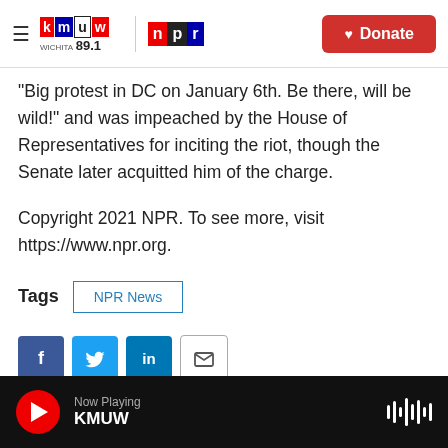KMUW Wichita 89.1 | NPR | Donate
"Big protest in DC on January 6th. Be there, will be wild!" and was impeached by the House of Representatives for inciting the riot, though the Senate later acquitted him of the charge.
Copyright 2021 NPR. To see more, visit https://www.npr.org.
Tags  NPR News
[Figure (other): Social sharing icons: Facebook, Twitter, LinkedIn, Email]
Now Playing KMUW